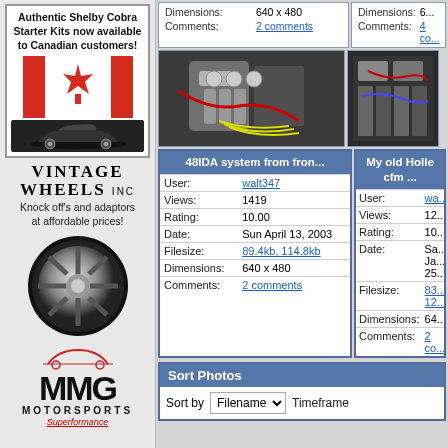[Figure (illustration): Ad for Authentic Shelby Cobra Starter Kits for Canadian customers with Canadian flag and car image]
[Figure (illustration): Vintage Wheels Inc advertisement with chrome wheel photo]
[Figure (illustration): MMG Motorsports Superformance logo advertisement]
|  |  |
| --- | --- |
| Dimensions: | 640 x 480 |
| Comments: | 2 comments |
|  |  |
| --- | --- |
| Dimensions: | 6... |
| Comments: | 4 co... |
[Figure (photo): 48IDA carburetor system viewed from front - engine photo]
[Figure (photo): My old Holley cfm - engine photo, partially cropped]
|  |  |
| --- | --- |
| User: | walt347 |
| Views: | 1419 |
| Rating: | 10.00 |
| Date: | Sun April 13, 2003 |
| Filesize: | 89.4kb, 114.8kb |
| Dimensions: | 640 x 480 |
| Comments: | 2 comments |
|  |  |
| --- | --- |
| User: | wa... |
| Views: | 12... |
| Rating: | 10... |
| Date: | Sa... Ja... 25... |
| Filesize: | 83... 12... |
| Dimensions: | 64... |
| Comments: | 2 co... |
Sort Photos
Sort by Filename   Timeframe